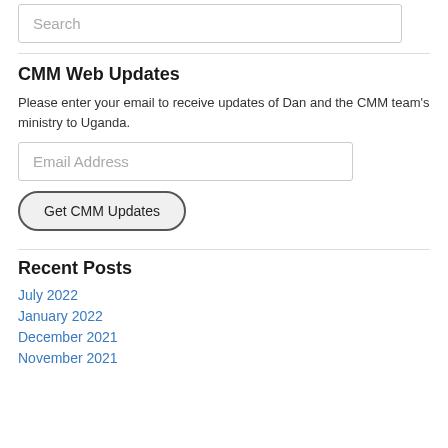Search
CMM Web Updates
Please enter your email to receive updates of Dan and the CMM team's ministry to Uganda.
Email Address
Get CMM Updates
Recent Posts
July 2022
January 2022
December 2021
November 2021